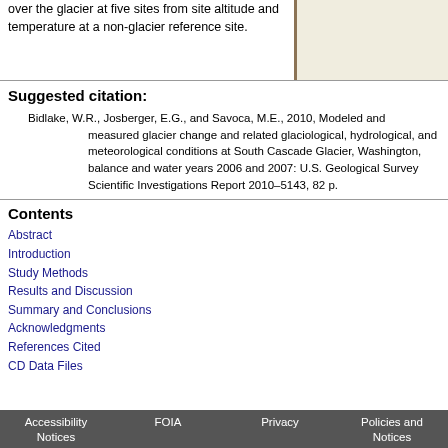over the glacier at five sites from site altitude and temperature at a non-glacier reference site.
Suggested citation:
Bidlake, W.R., Josberger, E.G., and Savoca, M.E., 2010, Modeled and measured glacier change and related glaciological, hydrological, and meteorological conditions at South Cascade Glacier, Washington, balance and water years 2006 and 2007: U.S. Geological Survey Scientific Investigations Report 2010–5143, 82 p.
Contents
Abstract
Introduction
Study Methods
Results and Discussion
Summary and Conclusions
Acknowledgments
References Cited
CD Data Files
Accessibility Notices   FOIA   Privacy   Policies and Notices